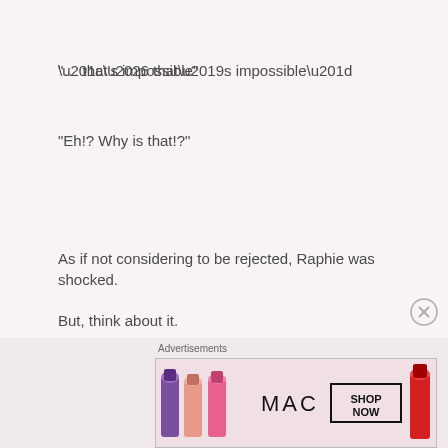“… that’s impossible”
“Eh!? Why is that!?”
As if not considering to be rejected, Raphie was shocked.
But, think about it.
“We haven’t even been lovers yet?”
“Is there any problems with that?”
[Figure (advertisement): MAC cosmetics advertisement banner showing lipsticks with text MAC SHOP NOW]
Advertisements